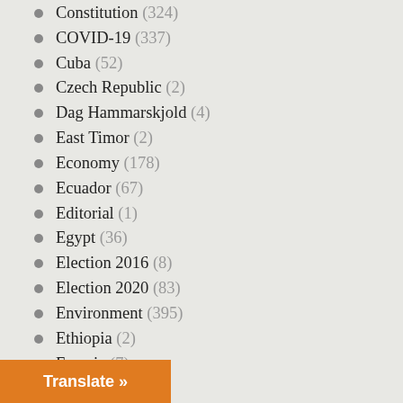Constitution (324)
COVID-19 (337)
Cuba (52)
Czech Republic (2)
Dag Hammarskjold (4)
East Timor (2)
Economy (178)
Ecuador (67)
Editorial (1)
Egypt (36)
Election 2016 (8)
Election 2020 (83)
Environment (395)
Ethiopia (2)
Eurasia (7)
Europe (106)
European Union (27)
Fall Fund Drive (7)
Translate »